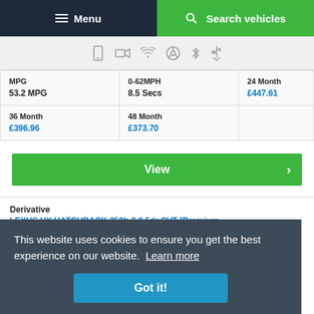Menu | Search vehicles
[Figure (other): Row of feature icons: phone, camera/video, wireless, steering wheel, bluetooth, USB]
| MPG | 0-62MPH | 24 Month |
| --- | --- | --- |
| 53.2 MPG | 8.5 Secs | £447.61 |
| 36 Month | 48 Month |  |
| --- | --- | --- |
| £396.96 | £373.70 |  |
View
Derivative
LEXUS UX HATCHBACK 250h 2.0 5dr CVT [Premium
This website uses cookies to ensure you get the best experience on our website. Learn more
Got it!